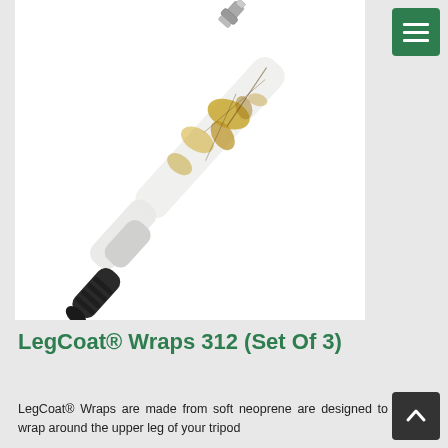[Figure (photo): A single tripod leg wrapped in white camouflage neoprene (LegCoat Wrap) with gold/brown leaf pattern, shown diagonally with metal connector at top and black rubber end at bottom.]
LegCoat® Wraps 312 (Set Of 3)
LegCoat® Wraps are made from soft neoprene are designed to wrap around the upper leg of your tripod